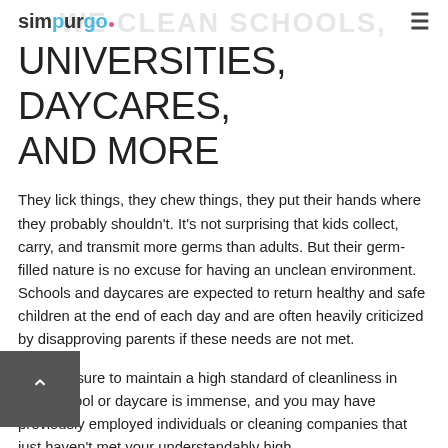simpurgo
UNIVERSITIES, DAYCARES, AND MORE
They lick things, they chew things, they put their hands where they probably shouldn't. It's not surprising that kids collect, carry, and transmit more germs than adults. But their germ-filled nature is no excuse for having an unclean environment. Schools and daycares are expected to return healthy and safe children at the end of each day and are often heavily criticized by disapproving parents if these needs are not met.
The pressure to maintain a high standard of cleanliness in your school or daycare is immense, and you may have previously employed individuals or cleaning companies that just haven't met your understandably high